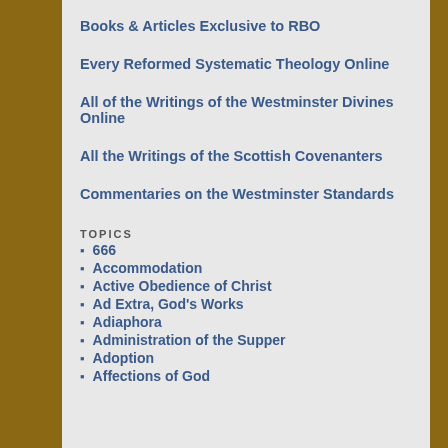Books & Articles Exclusive to RBO
Every Reformed Systematic Theology Online
All of the Writings of the Westminster Divines Online
All the Writings of the Scottish Covenanters
Commentaries on the Westminster Standards
TOPICS
666
Accommodation
Active Obedience of Christ
Ad Extra, God's Works
Adiaphora
Administration of the Supper
Adoption
Affections of God